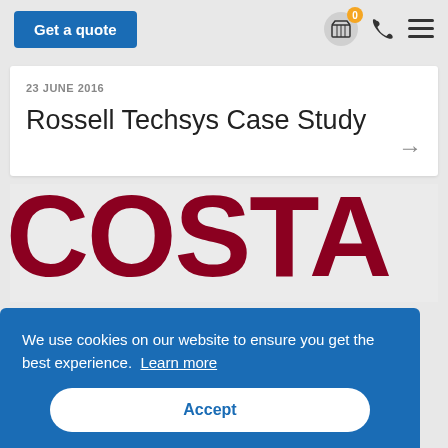Get a quote
23 JUNE 2016
Rossell Techsys Case Study
[Figure (screenshot): Large COSTA text in dark red/maroon color as background image]
We use cookies on our website to ensure you get the best experience. Learn more
Accept